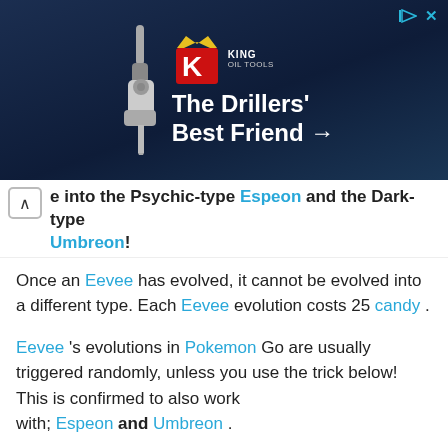[Figure (illustration): Advertisement banner for King Oil Tools showing 'The Drillers' Best Friend →' with a King logo (red K with crown) and an industrial drill device, on a dark blue background. Top right has play and close (x) icons.]
e into the Psychic-type Espeon and the Dark-type Umbreon!
Once an Eevee has evolved, it cannot be evolved into a different type. Each Eevee evolution costs 25 candy.
Eevee's evolutions in Pokemon Go are usually triggered randomly, unless you use the trick below! This is confirmed to also work with; Espeon and Umbreon.